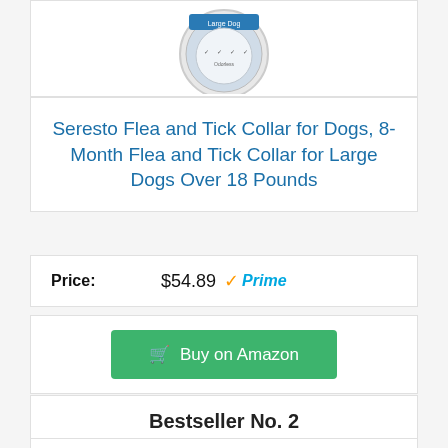[Figure (photo): Partial view of Seresto flea and tick collar for large dog in circular packaging with blue label]
Seresto Flea and Tick Collar for Dogs, 8-Month Flea and Tick Collar for Large Dogs Over 18 Pounds
Price: $54.89 Prime
Buy on Amazon
Bestseller No. 2
[Figure (photo): Partial view of cat flea treatment product with a tabby cat on the packaging]